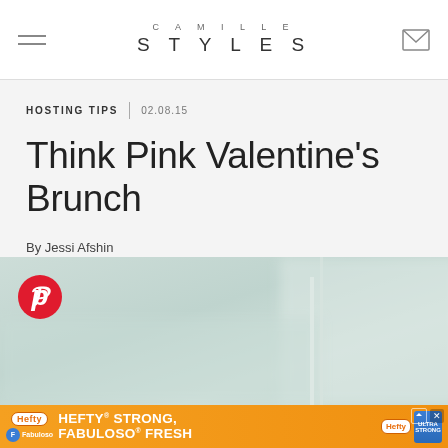CAMILLE STYLES
HOSTING TIPS | 02.08.15
Think Pink Valentine's Brunch
By Jessi Afshin
[Figure (photo): Pale green/mint blurred background photo]
[Figure (logo): Pinterest circular icon button]
[Figure (infographic): Hefty ad banner: HEFTY STRONG, FABULOSO FRESH]